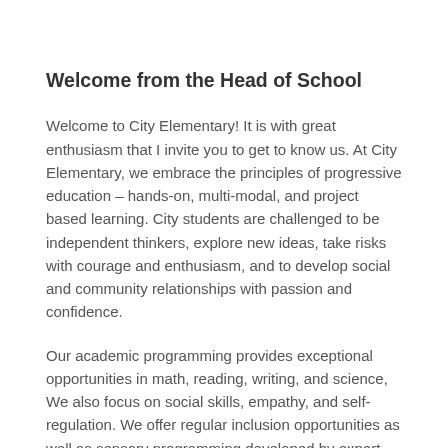Welcome from the Head of School
Welcome to City Elementary! It is with great enthusiasm that I invite you to get to know us. At City Elementary, we embrace the principles of progressive education – hands-on, multi-modal, and project based learning. City students are challenged to be independent thinkers, explore new ideas, take risks with courage and enthusiasm, and to develop social and community relationships with passion and confidence.
Our academic programming provides exceptional opportunities in math, reading, writing, and science, We also focus on social skills, empathy, and self-regulation. We offer regular inclusion opportunities as well as sensory programming developed by expert